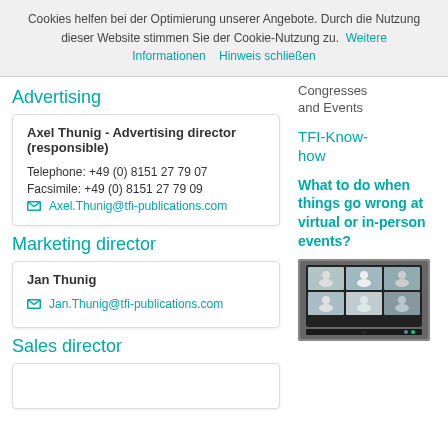Cookies helfen bei der Optimierung unserer Angebote. Durch die Nutzung dieser Website stimmen Sie der Cookie-Nutzung zu. Weitere Informationen   Hinweis schließen
Congresses and Events
Advertising
Axel Thunig - Advertising director (responsible)
Telephone: +49 (0) 8151 27 79 07
Facsimile: +49 (0) 8151 27 79 09
Axel.Thunig@tfi-publications.com
TFI-Know-how
What to do when things go wrong at virtual or in-person events?
Marketing director
Jan Thunig
Jan.Thunig@tfi-publications.com
[Figure (photo): Photo of a screen showing virtual event participants in a grid video call layout]
Sales director